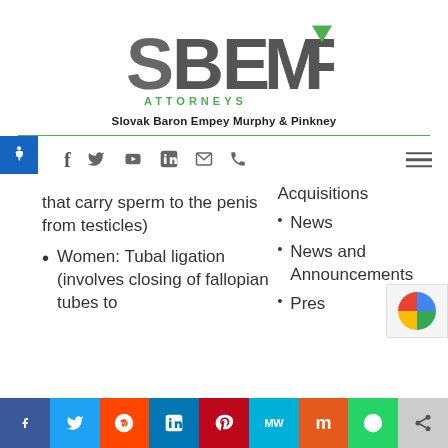[Figure (logo): SBEMP Attorneys logo - Slovak Baron Empey Murphy & Pinkney]
that carry sperm to the penis from testicles)
Women: Tubal ligation (involves closing of fallopian tubes to
Acquisitions
News
News and Announcements
Press